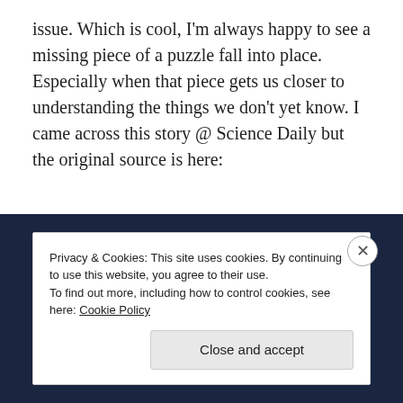issue. Which is cool, I'm always happy to see a missing piece of a puzzle fall into place. Especially when that piece gets us closer to understanding the things we don't yet know. I came across this story @ Science Daily but the original source is here:
http://uanews.org/story/accelerating-universe-not-so-fast
April 12, 2015   15 Replies
Privacy & Cookies: This site uses cookies. By continuing to use this website, you agree to their use. To find out more, including how to control cookies, see here: Cookie Policy
Close and accept